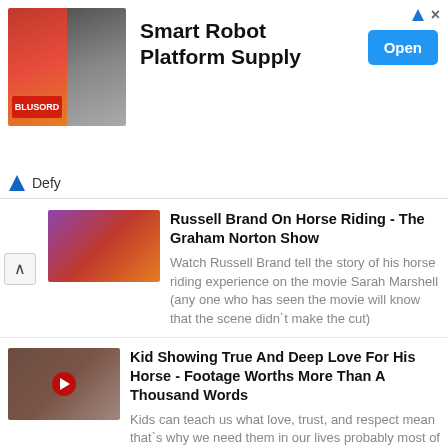[Figure (screenshot): Advertisement banner for Smart Robot Platform Supply by Defy, with images of robots on left and Open button on right]
Smart Robot Platform Supply
[Figure (screenshot): Thumbnail for Russell Brand On Horse Riding - The Graham Norton Show, showing TV show scene]
Russell Brand On Horse Riding - The Graham Norton Show
Watch Russell Brand tell the story of his horse riding experience on the movie Sarah Marshell (any one who has seen the movie will know that the scene didn`t make the cut)
[Figure (screenshot): Thumbnail for Kid Showing True And Deep Love For His Horse - Footage Worths More Than A Thousand Words]
Kid Showing True And Deep Love For His Horse - Footage Worths More Than A Thousand Words
Kids can teach us what love, trust, and respect mean that`s why we need them in our lives probably most of all. We must be grateful for having such innocent creatures who keep on reminding us of the noblest values.
[Figure (photo): Horse grazing in green field]
Are Buttercups Poisonous To Horses?